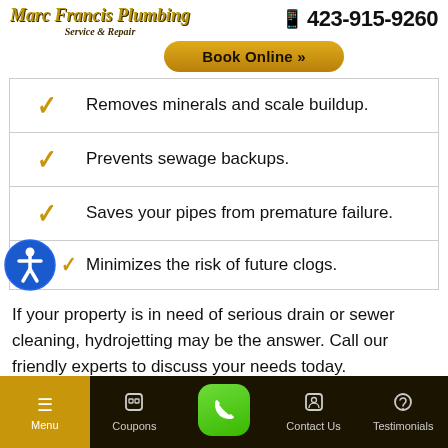Marc Francis Plumbing Service & Repair | 423-915-9260 | Book Online
Removes minerals and scale buildup.
Prevents sewage backups.
Saves your pipes from premature failure.
Minimizes the risk of future clogs.
If your property is in need of serious drain or sewer cleaning, hydrojetting may be the answer. Call our friendly experts to discuss your needs today.
Menu | Coupons | [Phone] | Contact Us | Testimonials